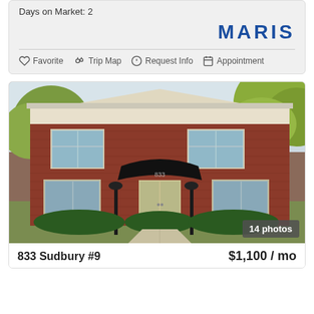Days on Market: 2
[Figure (logo): MARIS logo in bold blue text]
Favorite  Trip Map  Request Info  Appointment
[Figure (photo): Exterior photo of a red brick apartment building with black awning entrance numbered 833, two lamp posts, bushes, and autumn trees. Shows 14 photos badge.]
833 Sudbury #9
$1,100 / mo